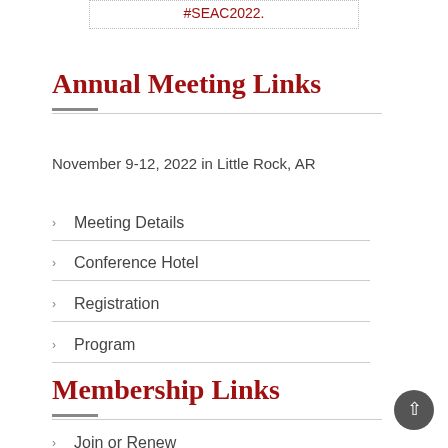#SEAC2022.
Annual Meeting Links
November 9-12, 2022 in Little Rock, AR
Meeting Details
Conference Hotel
Registration
Program
Membership Links
Join or Renew